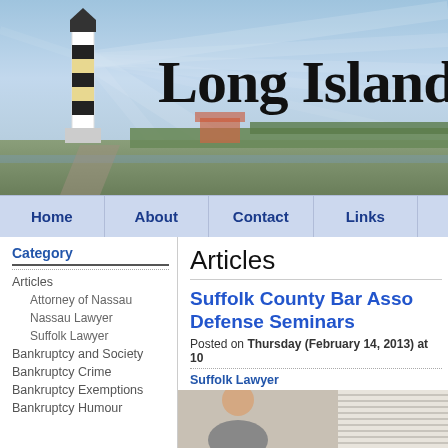[Figure (illustration): Long Island law firm website header banner with lighthouse image on left, light rays emanating, landscape with trees and water, large serif text 'Long Island L' (truncated)]
Long Island L
[Figure (screenshot): Navigation bar with links: Home, About, Contact, Links]
Category
Articles
Attorney of Nassau
Nassau Lawyer
Suffolk Lawyer
Bankruptcy and Society
Bankruptcy Crime
Bankruptcy Exemptions
Bankruptcy Humour
Articles
Suffolk County Bar Asso Defense Seminars
Posted on Thursday (February 14, 2013) at 10
Suffolk Lawyer
[Figure (photo): Photo of a person, partially visible, indoor setting with blinds visible on right side]